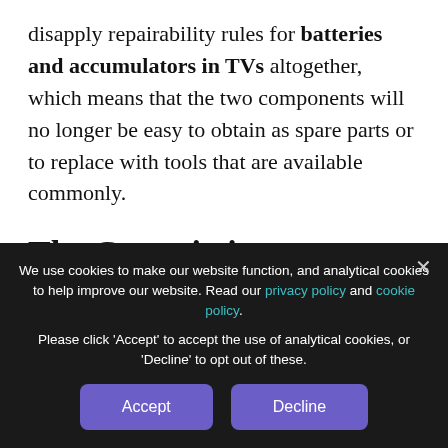disapply repairability rules for batteries and accumulators in TVs altogether, which means that the two components will no longer be easy to obtain as spare parts or to replace with tools that are available commonly.
The Commission not true to its word?
We use cookies to make our website function, and analytical cookies to help improve our website. Read our privacy policy and cookie policy.
Please click 'Accept' to accept the use of analytical cookies, or 'Decline' to opt out of these.